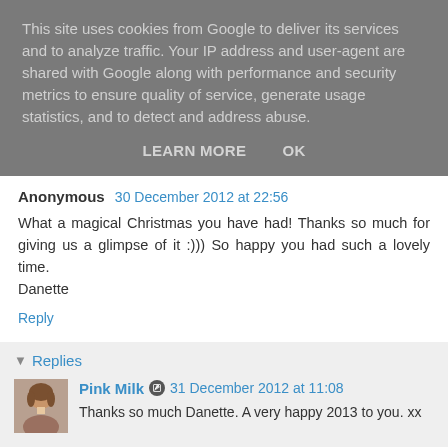This site uses cookies from Google to deliver its services and to analyze traffic. Your IP address and user-agent are shared with Google along with performance and security metrics to ensure quality of service, generate usage statistics, and to detect and address abuse.
LEARN MORE    OK
Anonymous 30 December 2012 at 22:56
What a magical Christmas you have had! Thanks so much for giving us a glimpse of it :))) So happy you had such a lovely time.
Danette
Reply
Replies
Pink Milk 31 December 2012 at 11:08
Thanks so much Danette. A very happy 2013 to you. xx